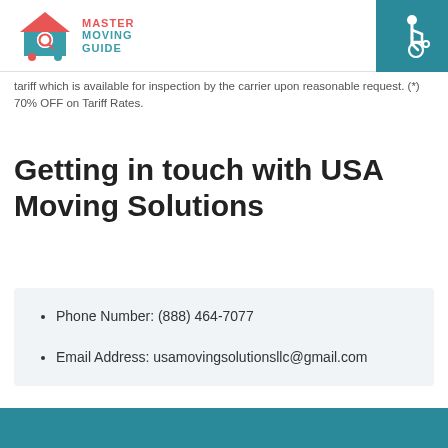[Figure (logo): Master Moving Guide logo with house icon and text]
tariff which is available for inspection by the carrier upon reasonable request. (*) 70% OFF on Tariff Rates.
Getting in touch with USA Moving Solutions
Phone Number: (888) 464-7077
Email Address: usamovingsolutionsllc@gmail.com